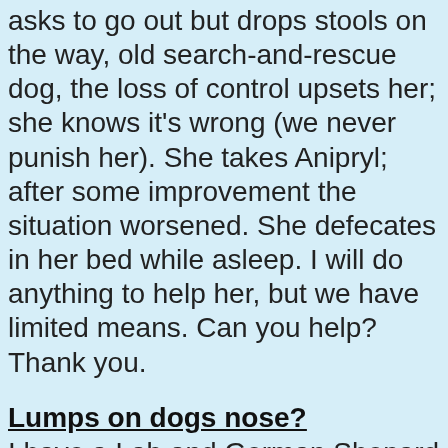asks to go out but drops stools on the way, old search-and-rescue dog, the loss of control upsets her; she knows it's wrong (we never punish her). She takes Anipryl; after some improvement the situation worsened. She defecates in her bed while asleep. I will do anything to help her, but we have limited means. Can you help? Thank you.
Lumps on dogs nose?
I have a Lab and German Shepard mix that is a year and half old, just yesterday these large lumps about 3/4 of an inch wide appeared on her nose it started out as two but this morning when we woke up she has three more that appeared, one on her nose, a smaller one on the side of her nose, and one on her mouth that's red. Can anyone tell me what these